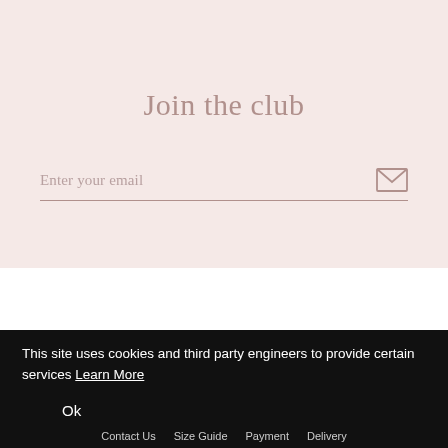Join the club
Enter your email
This site uses cookies and third party engineers to provide certain services Learn More
Ok
Contact Us   Size Guide   Payment   Delivery